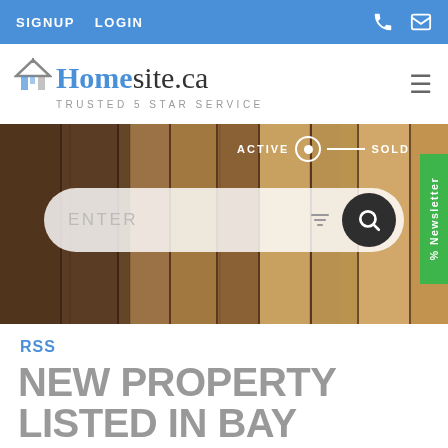SIGNUP  LOGIN
[Figure (logo): Homesite.ca logo with house icon and tagline TRUSTED 5 STAR SERVICE]
[Figure (photo): Hero background image showing wooden door/panels with search bar overlay, ACTIVE/SOLD toggle, Newsletter tab]
RSS
NEW PROPERTY LISTED IN BAY STREET CORRIDOR, TORONTO